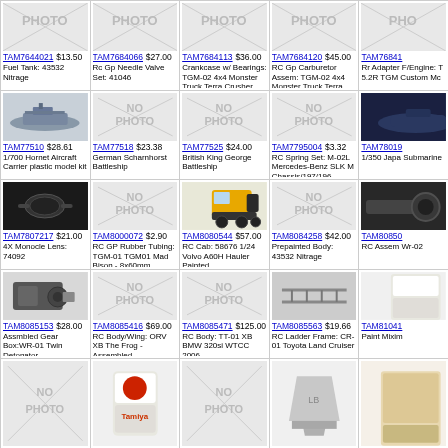[Figure (photo): Product photo placeholder - PHOTO watermark]
TAM7644021 $13.50 Fuel Tank: 43532 Nitrage
[Figure (photo): NO PHOTO placeholder]
TAM7684066 $27.00 Rc Gp Needle Valve Set: 41046
[Figure (photo): NO PHOTO placeholder]
TAM7684113 $36.00 Crankcase w/ Bearings: TGM-02 4x4 Monster Truck Terra Crusher
[Figure (photo): NO PHOTO placeholder]
TAM7684120 $45.00 RC Gp Carburetor Assem: TGM-02 4x4 Monster Truck Terra Crusher
[Figure (photo): PHOTO watermark - partial]
TAM76841 Rr Adapter F/Engine: T 5.2R TGM Custom Mc
[Figure (photo): Ship model photo - 1/700 Hornet Aircraft Carrier]
TAM77510 $28.61 1/700 Hornet Aircraft Carrier plastic model kit
[Figure (photo): NO PHOTO placeholder]
TAM77518 $23.38 German Scharnhorst Battleship
[Figure (photo): NO PHOTO placeholder]
TAM77525 $24.00 British King George Battleship
[Figure (photo): NO PHOTO placeholder]
TAM7795004 $3.32 RC Spring Set: M-02L Mercedes-Benz SLK M Chassis/197/196
[Figure (photo): Partial submarine photo]
TAM78019 1/350 Japa Submarine
[Figure (photo): 4X Monocle Lens product photo]
TAM7807217 $21.00 4X Monocle Lens: 74092
[Figure (photo): NO PHOTO placeholder]
TAM8000072 $2.90 RC GP Rubber Tubing: TGM-01 TGM01 Mad Bison - 8x60mm
[Figure (photo): Volvo A60H Hauler product photo]
TAM8080544 $57.00 RC Cab: 58676 1/24 Volvo A60H Hauler Painted
[Figure (photo): NO PHOTO placeholder]
TAM8084258 $42.00 Prepainted Body: 43532 Nitrage
[Figure (photo): Partial RC Assembly photo]
TAM80850 RC Assem Wr-02
[Figure (photo): Assembled Gear Box product photo]
TAM8085153 $28.00 Assmbled Gear Box:WR-01 Twin Detonator
[Figure (photo): NO PHOTO placeholder]
TAM8085416 $69.00 RC Body/Wing: ORV XB The Frog - Assembled
[Figure (photo): NO PHOTO placeholder]
TAM8085471 $125.00 RC Body: TT-01 XB BMW 320si WTCC 2006
[Figure (photo): RC Ladder Frame product photo]
TAM8085563 $19.66 RC Ladder Frame: CR-01 Toyota Land Cruiser
[Figure (photo): TAM81041 Paint Mixing partial photo]
TAM81041 Paint Mixim
[Figure (photo): NO PHOTO placeholder - row 5]
[Figure (photo): Paint jar product photo - row 5]
[Figure (photo): NO PHOTO placeholder - row 5]
[Figure (photo): Gray paint jar product photo - row 5]
[Figure (photo): Tan paint jar partial photo - row 5]